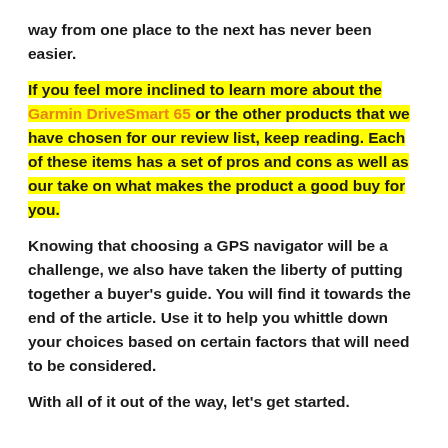way from one place to the next has never been easier.
If you feel more inclined to learn more about the Garmin DriveSmart 65 or the other products that we have chosen for our review list, keep reading. Each of these items has a set of pros and cons as well as our take on what makes the product a good buy for you.
Knowing that choosing a GPS navigator will be a challenge, we also have taken the liberty of putting together a buyer’s guide. You will find it towards the end of the article. Use it to help you whittle down your choices based on certain factors that will need to be considered.
With all of it out of the way, let’s get started.